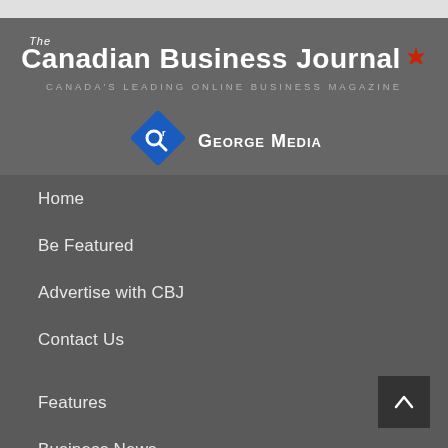The Canadian Business Journal — CANADA'S LEADING ONLINE BUSINESS MAGAZINE
[Figure (logo): George Media logo — blue diamond with stylized 'or' icon, followed by 'GEORGE MEDIA' text in white small-caps]
Home
Be Featured
Advertise with CBJ
Contact Us
Features
Business News
CBJ News
Editorial